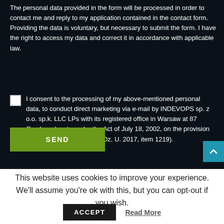The personal data provided in the form will be processed in order to contact me and reply to my application contained in the contact form. Providing the data is voluntary, but necessary to submit the form. I have the right to access my data and correct it in accordance with applicable law.
I consent to the processing of my above-mentioned personal data, to conduct direct marketing via e-mail by INDEVOPS sp. z o.o. sp.k. LLC LPs with its registered office in Warsaw at 87 Grzybowska st., under the Act of July 18, 2002, on the provision of electronic services (i.e., Dz. U. 2017, item 1219).
SEND
This website uses cookies to improve your experience. We'll assume you're ok with this, but you can opt-out if you wish.
ACCEPT
Read More